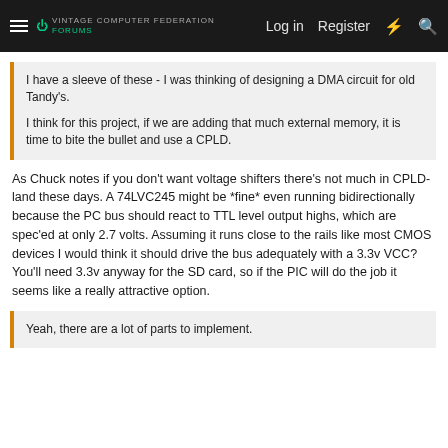Log in  Register
I have a sleeve of these - I was thinking of designing a DMA circuit for old Tandy's.

I think for this project, if we are adding that much external memory, it is time to bite the bullet and use a CPLD.
As Chuck notes if you don't want voltage shifters there's not much in CPLD-land these days. A 74LVC245 might be *fine* even running bidirectionally because the PC bus should react to TTL level output highs, which are spec'ed at only 2.7 volts. Assuming it runs close to the rails like most CMOS devices I would think it should drive the bus adequately with a 3.3v VCC? You'll need 3.3v anyway for the SD card, so if the PIC will do the job it seems like a really attractive option.
Yeah, there are a lot of parts to implement.